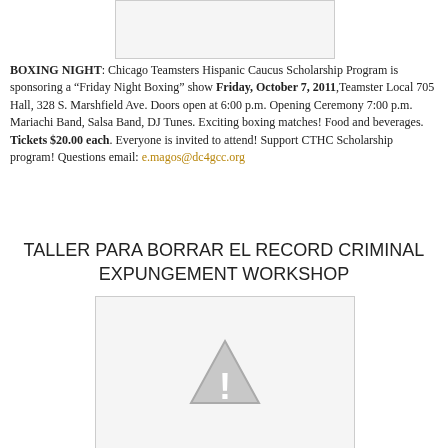[Figure (photo): Placeholder image box at top center]
BOXING NIGHT: Chicago Teamsters Hispanic Caucus Scholarship Program is sponsoring a “Friday Night Boxing” show Friday, October 7, 2011,Teamster Local 705 Hall, 328 S. Marshfield Ave. Doors open at 6:00 p.m. Opening Ceremony 7:00 p.m. Mariachi Band, Salsa Band, DJ Tunes. Exciting boxing matches! Food and beverages. Tickets $20.00 each. Everyone is invited to attend! Support CTHC Scholarship program! Questions email: e.magos@dc4gcc.org
TALLER PARA BORRAR EL RECORD CRIMINAL EXPUNGEMENT WORKSHOP
[Figure (other): Placeholder image box with warning/alert triangle icon]